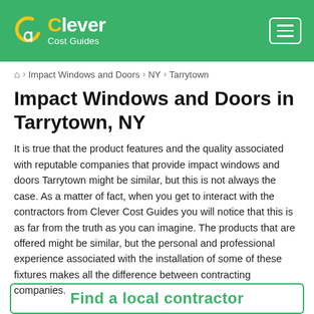Clever Cost Guides
🏠 > Impact Windows and Doors > NY > Tarrytown
Impact Windows and Doors in Tarrytown, NY
It is true that the product features and the quality associated with reputable companies that provide impact windows and doors Tarrytown might be similar, but this is not always the case. As a matter of fact, when you get to interact with the contractors from Clever Cost Guides you will notice that this is as far from the truth as you can imagine. The products that are offered might be similar, but the personal and professional experience associated with the installation of some of these fixtures makes all the difference between contracting companies.
[Figure (other): Partial green bordered box at bottom of page with green text beginning to appear]